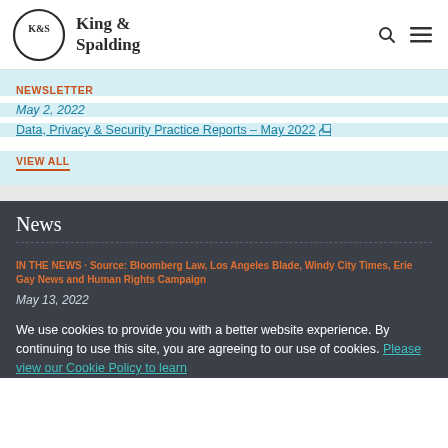King & Spalding
NEWSLETTER
May 2, 2022
Data, Privacy & Security Practice Reports – May 2022
VIEW ALL
News
IN THE NEWS · Source: Bloomberg Law, Los Angeles Blade, Windy City Times, Erie Gay News and Human Rights Campaign
May 13, 2022
We use cookies to provide you with a better website experience. By continuing to use this site, you are agreeing to our use of cookies. Please view our Cookie Policy to learn